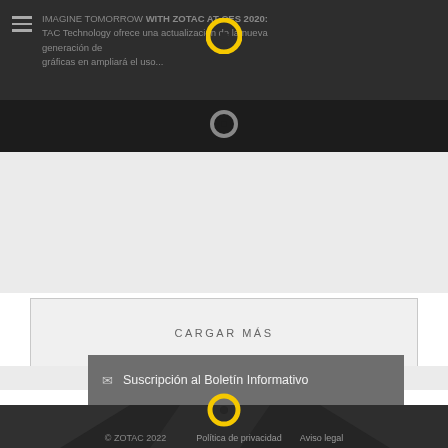IMAGINE TOMORROW WITH ZOTAC AT CES 2020: ZOTAC Technology ofrece una actualización de la nueva generación de gráficas en ampliará el uso...
[Figure (logo): ZOTAC logo - yellow circle ring on dark background]
[Figure (logo): ZOTAC logo - yellow circle ring on dark divider bar]
CARGAR MÁS
✉ Suscripción al Boletín Informativo
[Figure (logo): ZOTAC logo - yellow circle ring on dark footer]
© ZOTAC 2022
Política de privacidad   Aviso legal